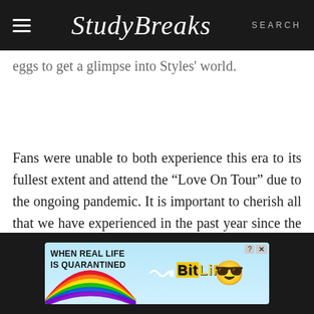Study Breaks — SEARCH
eggs to get a glimpse into Styles' world.
Fans were unable to both experience this era to its fullest extent and attend the “Love On Tour” due to the ongoing pandemic. It is important to cherish all that we have experienced in the past year since the release of October 2019’s “Lights
[Figure (screenshot): BitLife advertisement banner: rainbow background with text 'WHEN REAL LIFE IS QUARANTINED' and BitLife logo with emoji face wearing mask]